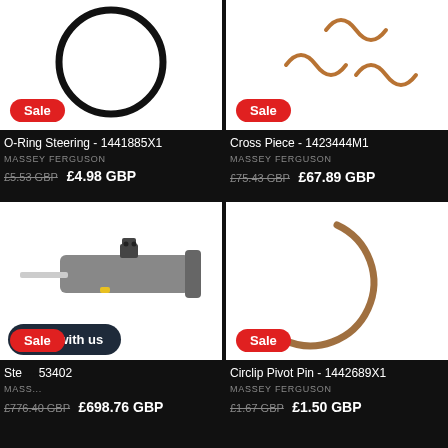[Figure (photo): O-Ring Steering part on white background with Sale badge]
O-Ring Steering - 1441885X1
MASSEY FERGUSON
£5.53 GBP  £4.98 GBP
[Figure (photo): Cross Piece metal parts on white background with Sale badge]
Cross Piece - 1423444M1
MASSEY FERGUSON
£75.43 GBP  £67.89 GBP
[Figure (photo): Steering cylinder/ram part on white background with Sale badge and Chat with us overlay]
Ste... 53402
MASSEY FERGUSON
£776.40 GBP  £698.76 GBP
[Figure (photo): Circlip Pivot Pin metal ring on white background with Sale badge]
Circlip Pivot Pin - 1442689X1
MASSEY FERGUSON
£1.67 GBP  £1.50 GBP